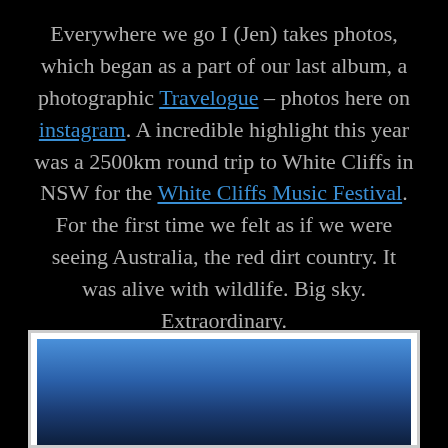Everywhere we go I (Jen) takes photos, which began as a part of our last album, a photographic Travelogue – photos here on instagram. A incredible highlight this year was a 2500km round trip to White Cliffs in NSW for the White Cliffs Music Festival. For the first time we felt as if we were seeing Australia, the red dirt country. It was alive with wildlife. Big sky. Extraordinary.
[Figure (photo): Partial photo showing a blue sky gradient, framed in white, at the bottom of the page.]